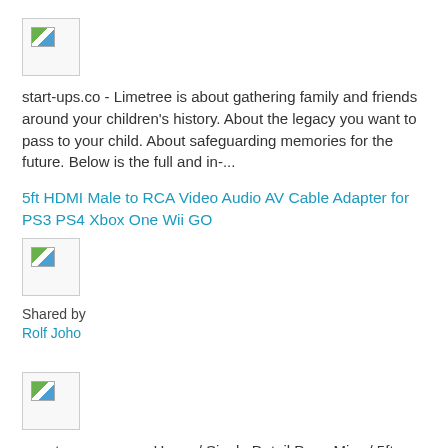[Figure (other): Broken image placeholder icon, small square with border]
start-ups.co - Limetree is about gathering family and friends around your children's history. About the legacy you want to pass to your child. About safeguarding memories for the future. Below is the full and in-...
5ft HDMI Male to RCA Video Audio AV Cable Adapter for PS3 PS4 Xbox One Wii GO
[Figure (other): Broken image placeholder icon, small square with border]
Shared by
Rolf Joho
[Figure (other): Broken image placeholder icon, small square with border]
agent.monov.com - Home / Single Detail Page Misc / 5ft